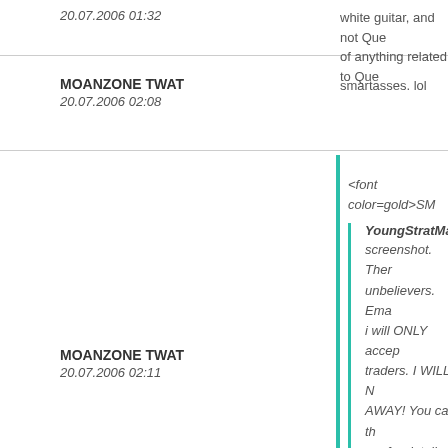20.07.2006 01:32
white guitar, and not Que... of anything related to Que...
MOANZONE TWAT
20.07.2006 02:08
smartasses. lol
<font color=gold>SM...
YoungStratMan ... screenshot. Ther... unbelievers. Ema... i will ONLY accep... traders. I WILL N... AWAY! You can th... me for details. lin...
MOANZONE TWAT
20.07.2006 02:11
DAMN that's good qu... band in action close u... that's the band, I mea... looks like John. I'm pr... white bass. Come on ... proof, or apologize fo... THAT much more...